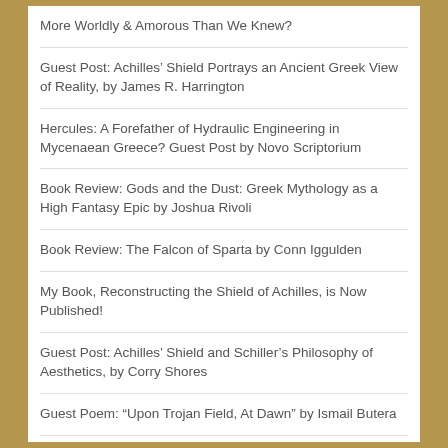More Worldly & Amorous Than We Knew?
Guest Post: Achilles’ Shield Portrays an Ancient Greek View of Reality, by James R. Harrington
Hercules: A Forefather of Hydraulic Engineering in Mycenaean Greece? Guest Post by Novo Scriptorium
Book Review: Gods and the Dust: Greek Mythology as a High Fantasy Epic by Joshua Rivoli
Book Review: The Falcon of Sparta by Conn Iggulden
My Book, Reconstructing the Shield of Achilles, is Now Published!
Guest Post: Achilles’ Shield and Schiller’s Philosophy of Aesthetics, by Corry Shores
Guest Poem: “Upon Trojan Field, At Dawn” by Ismail Butera